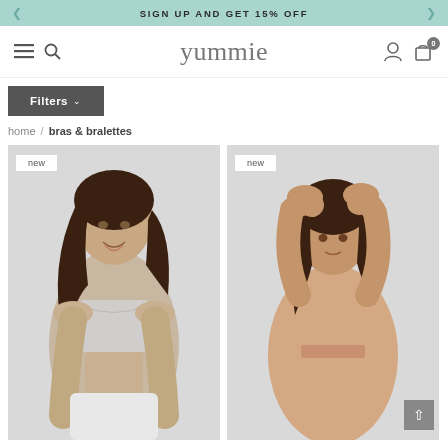SIGN UP AND GET 15% OFF
[Figure (logo): Yummie brand navigation bar with hamburger menu, search icon, logo, user icon, and cart icon showing 0 items]
Filters ∨
home / bras & bralettes
[Figure (photo): Woman wearing a light grey heathered bralette/sports bra, smiling, with 'new' badge in top left corner]
[Figure (photo): Woman wearing a nude/beige bra with arms raised above head, with 'new' badge in top left corner]